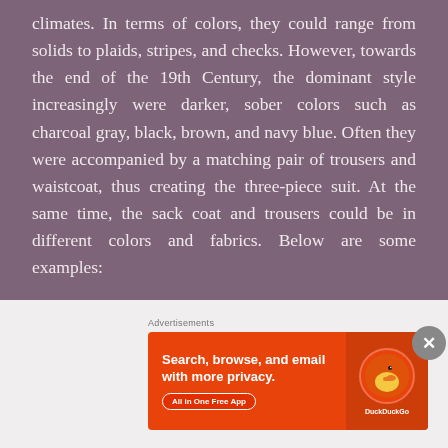climates. In terms of colors, they could range from solids to plaids, stripes, and checks. However, towards the end of the 19th Century, the dominant style increasingly were darker, sober colors such as charcoal gray, black, brown, and navy blue. Often they were accompanied by a matching pair of trousers and waistcoat, thus creating the three-piece suit. At the same time, the sack coat and trousers could be in different colors and fabrics. Below are some examples:
To start, here’s an image of an early sack coat from c. 1863 – 1864:
[Figure (photo): Top of a historical photograph showing an early sack coat, c. 1863-1864, partially visible at the bottom of the page]
[Figure (screenshot): DuckDuckGo advertisement banner with text 'Search, browse, and email with more privacy. All in One Free App' and DuckDuckGo logo on orange background, with Advertisements label above]